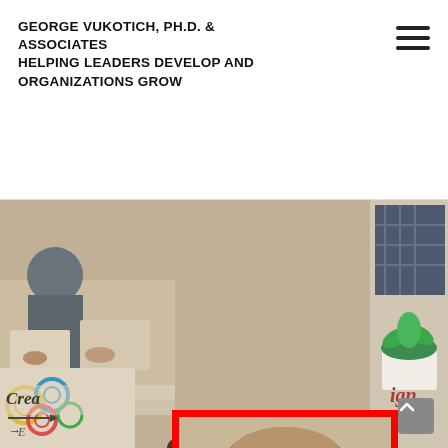GEORGE VUKOTICH, PH.D. & ASSOCIATES
HELPING LEADERS DEVELOP AND ORGANIZATIONS GROW
[Figure (photo): Professional headshot of George Vukotich — a middle-aged man with light brown hair, wearing a dark suit jacket and tie, smiling, against a beige background. The portrait is framed with a thick red border. Behind the portrait is a collage background showing people working at a table (left side), a gear/process diagram (lower left), whiteboard with 'Creativity' written (lower left), and a plant on a white surface (lower right).]